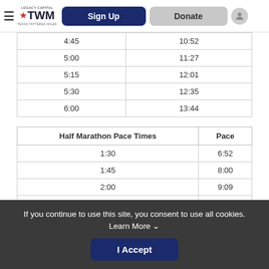LEGACY CAPITAL TWM — Sign Up | Donate
|  |  |
| --- | --- |
| 4:45 | 10:52 |
| 5:00 | 11:27 |
| 5:15 | 12:01 |
| 5:30 | 12:35 |
| 6:00 | 13:44 |
| Half Marathon Pace Times | Pace |
| --- | --- |
| 1:30 | 6:52 |
| 1:45 | 8:00 |
| 2:00 | 9:09 |
| 2:15 | 10:18 |
| 2:30 | 11:27 |
| 2:45 | 12:35 |
If you continue to use this site, you consent to use all cookies. Learn More ∨
I Accept